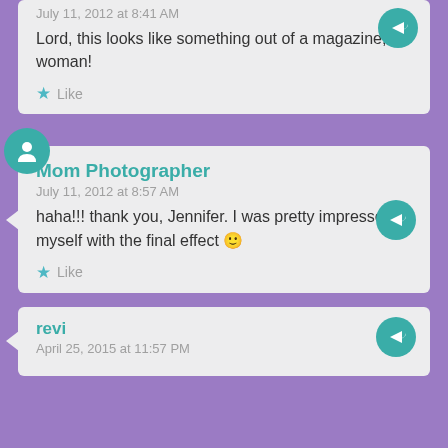July 11, 2012 at 8:41 AM
Lord, this looks like something out of a magazine, woman!
Like
Mom Photographer
July 11, 2012 at 8:57 AM
haha!!! thank you, Jennifer. I was pretty impressed myself with the final effect 🙂
Like
revi
April 25, 2015 at 11:57 PM